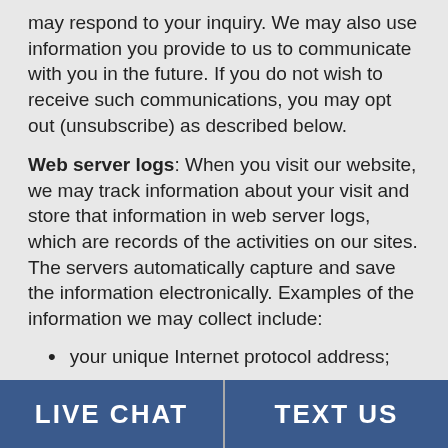may respond to your inquiry. We may also use information you provide to us to communicate with you in the future. If you do not wish to receive such communications, you may opt out (unsubscribe) as described below.
Web server logs: When you visit our website, we may track information about your visit and store that information in web server logs, which are records of the activities on our sites. The servers automatically capture and save the information electronically. Examples of the information we may collect include:
your unique Internet protocol address;
the name of your unique Internet service provider;
the town/city, county/state and country from which you access our website;
LIVE CHAT | TEXT US